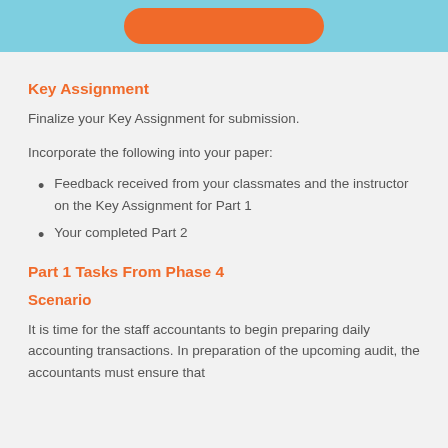[Figure (other): Top banner with light blue background and orange rounded button partially visible at top]
Key Assignment
Finalize your Key Assignment for submission.
Incorporate the following into your paper:
Feedback received from your classmates and the instructor on the Key Assignment for Part 1
Your completed Part 2
Part 1 Tasks From Phase 4
Scenario
It is time for the staff accountants to begin preparing daily accounting transactions. In preparation of the upcoming audit, the accountants must ensure that